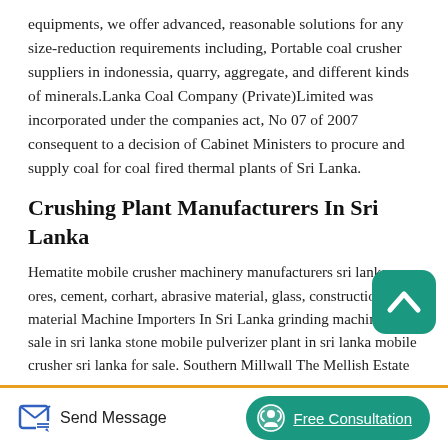equipments, we offer advanced, reasonable solutions for any size-reduction requirements including, Portable coal crusher suppliers in indonessia, quarry, aggregate, and different kinds of minerals.Lanka Coal Company (Private)Limited was incorporated under the companies act, No 07 of 2007 consequent to a decision of Cabinet Ministers to procure and supply coal for coal fired thermal plants of Sri Lanka.
Crushing Plant Manufacturers In Sri Lanka
Hematite mobile crusher machinery manufacturers sri lanka . ores, cement, corhart, abrasive material, glass, construction material Machine Importers In Sri Lanka grinding machines for sale in sri lanka stone mobile pulverizer plant in sri lanka mobile crusher sri lanka for sale. Southern Millwall The Mellish Estate
[Figure (illustration): Teal rounded square icon with white upward chevron/caret symbol - scroll to top button]
[Figure (illustration): Blue pencil/edit icon for Send Message button]
[Figure (illustration): White circular headset/support icon inside teal rounded rectangle Free Consultation button]